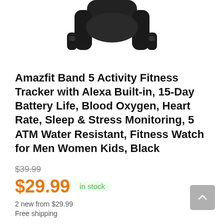[Figure (photo): Partial bottom view of a black Amazfit Band 5 fitness tracker wristband against white background]
Amazfit Band 5 Activity Fitness Tracker with Alexa Built-in, 15-Day Battery Life, Blood Oxygen, Heart Rate, Sleep & Stress Monitoring, 5 ATM Water Resistant, Fitness Watch for Men Women Kids, Black
$39.99
$29.99 in stock
2 new from $29.99
Free shipping